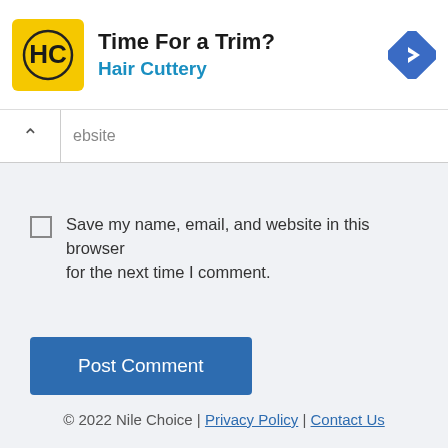[Figure (logo): Hair Cuttery advertisement banner with yellow HC logo, text 'Time For a Trim?' and 'Hair Cuttery' in blue, and a blue diamond direction sign icon]
ebsite
Save my name, email, and website in this browser for the next time I comment.
Post Comment
© 2022 Nile Choice | Privacy Policy | Contact Us